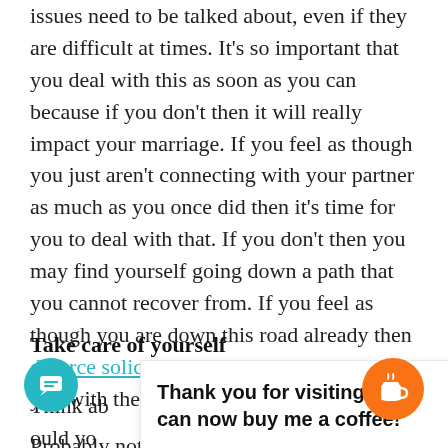issues need to be talked about, even if they are difficult at times. It's so important that you deal with this as soon as you can because if you don't then it will really impact your marriage. If you feel as though you just aren't connecting with your partner as much as you once did then it's time for you to deal with that. If you don't then you may find yourself going down a path that you cannot recover from. If you feel as though you are down this road already then divorce solicitors might be able to provide you with the support you need.
Take care of yourself
Think ab... r half, ould yo... ean stain... irta
[Figure (other): Popup overlay banner reading 'Thank you for visiting. You can now buy me a coffee!']
[Figure (other): Teal circular chat bubble button in bottom-left corner]
[Figure (other): Orange circular coffee cup button in bottom-right corner]
Probably not. You really don't have to make a lot of